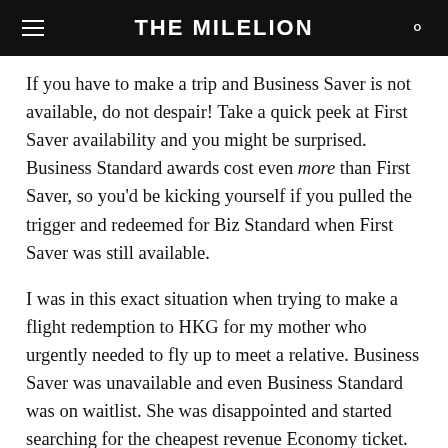THE MILELION
If you have to make a trip and Business Saver is not available, do not despair! Take a quick peek at First Saver availability and you might be surprised. Business Standard awards cost even more than First Saver, so you'd be kicking yourself if you pulled the trigger and redeemed for Biz Standard when First Saver was still available.
I was in this exact situation when trying to make a flight redemption to HKG for my mother who urgently needed to fly up to meet a relative. Business Saver was unavailable and even Business Standard was on waitlist. She was disappointed and started searching for the cheapest revenue Economy ticket. All it took for me was